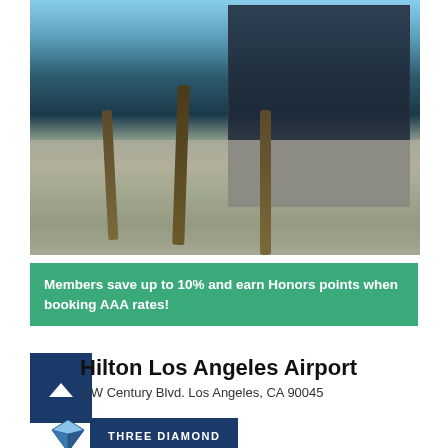[Figure (photo): Exterior photo of Hilton Los Angeles Airport hotel building — tall dark glass tower with palm trees in foreground and lower concrete facade with Hilton/Marriott signage]
Members save up to 10% and earn Honors points when booking AAA rates!
Hilton Los Angeles Airport
1 W Century Blvd. Los Angeles, CA 90045
[Figure (logo): THREE DIAMOND badge with blue diamond icon and blue label reading THREE DIAMOND]